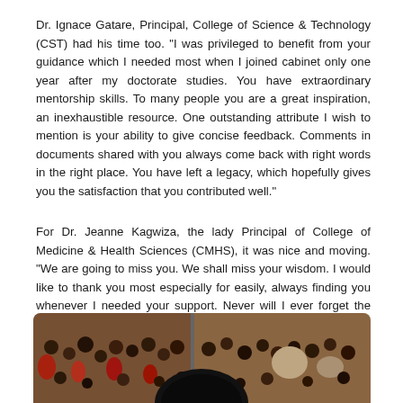Dr. Ignace Gatare, Principal, College of Science & Technology (CST) had his time too. "I was privileged to benefit from your guidance which I needed most when I joined cabinet only one year after my doctorate studies. You have extraordinary mentorship skills. To many people you are a great inspiration, an inexhaustible resource. One outstanding attribute I wish to mention is your ability to give concise feedback. Comments in documents shared with you always come back with right words in the right place. You have left a legacy, which hopefully gives you the satisfaction that you contributed well."
For Dr. Jeanne Kagwiza, the lady Principal of College of Medicine & Health Sciences (CMHS), it was nice and moving. "We are going to miss you. We shall miss your wisdom. I would like to thank you most especially for easily, always finding you whenever I needed your support. Never will I ever forget the support rendered to me when I faced the challenge of staff management. That was tremendously kind of you. May God protect you".
[Figure (photo): A photo strip showing a crowd of people at what appears to be a ceremony or gathering, with a dark rounded object visible at the bottom center.]